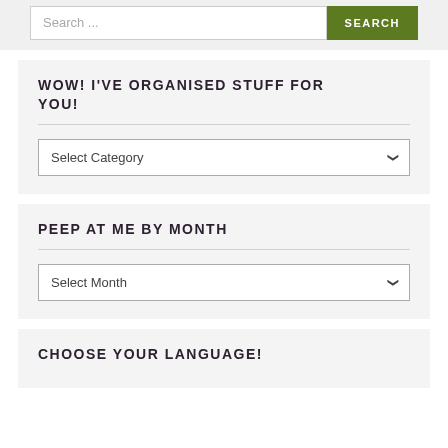Search ...
WOW! I'VE ORGANISED STUFF FOR YOU!
Select Category
PEEP AT ME BY MONTH
Select Month
CHOOSE YOUR LANGUAGE!